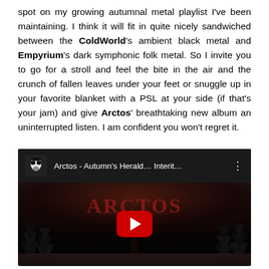spot on my growing autumnal metal playlist I've been maintaining. I think it will fit in quite nicely sandwiched between the ColdWorld's ambient black metal and Empyrium's dark symphonic folk metal. So I invite you to go for a stroll and feel the bite in the air and the crunch of fallen leaves under your feet or snuggle up in your favorite blanket with a PSL at your side (if that's your jam) and give Arctos' breathtaking new album an uninterrupted listen. I am confident you won't regret it.
[Figure (screenshot): YouTube video embed showing Arctos - Autumn's Herald... Interit... with a dark album cover featuring the band logo in gothic lettering, a snowy forest scene, and a red YouTube play button in the center.]